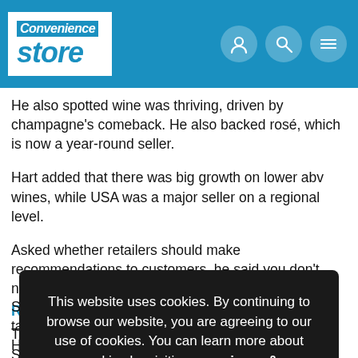Convenience store
He also spotted wine was thriving, driven by champagne's comeback. He also backed rosé, which is now a year-round seller.
Hart added that there was big growth on lower abv wines, while USA was a major seller on a regional level.
Asked whether retailers should make recommendations to customers, he said you don't need technical knowledge just te
Re
Tw
Sh
Pa
st
Shailesh said his business was thriving: "I've just taken on two service stations, which I'm revamping." He said all c-stores
This website uses cookies. By continuing to browse our website, you are agreeing to our use of cookies. You can learn more about cookies by visiting our privacy & cookies policy page.